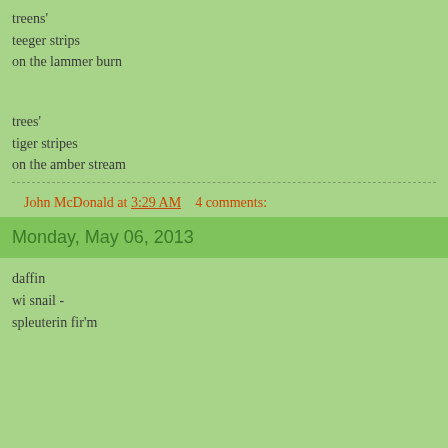treens'
teeger strips
on the lammer burn
trees'
tiger stripes
on the amber stream
John McDonald at 3:29 AM    4 comments:
Monday, May 06, 2013
daffin
wi snail -
spleuterin fir'm